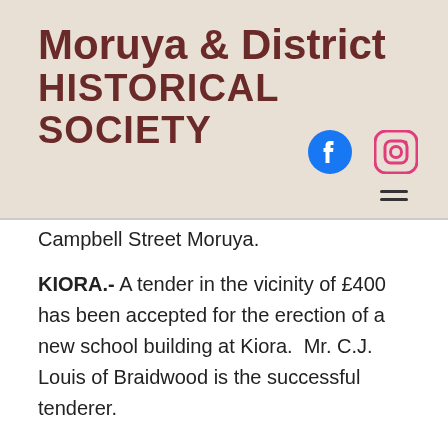Moruya & District HISTORICAL SOCIETY
[Figure (logo): Facebook circular blue logo icon]
[Figure (logo): Instagram rounded square outline logo icon]
Campbell Street Moruya.
KIORA.- A tender in the vicinity of £400 has been accepted for the erection of a new school building at Kiora.  Mr. C.J. Louis of Braidwood is the successful tenderer.
SERIOUS ACCIDENT.- On Monday Mr. Lance Sly